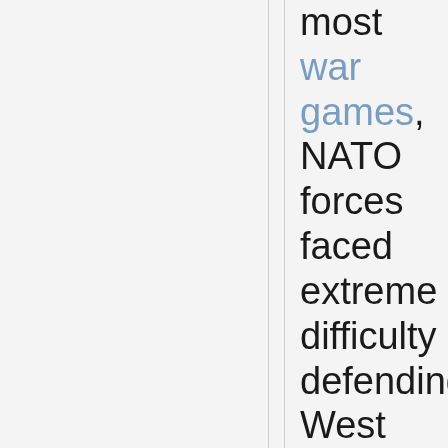most war games, NATO forces faced extreme difficulty defending West Germany and used nuclear weapons